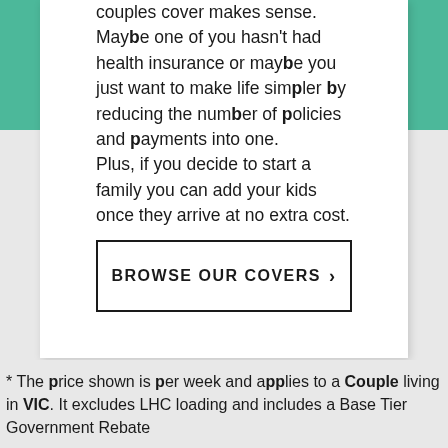couples cover makes sense. Maybe one of you hasn't had health insurance or maybe you just want to make life simpler by reducing the number of policies and payments into one.
Plus, if you decide to start a family you can add your kids once they arrive at no extra cost.
BROWSE OUR COVERS ›
* The price shown is per week and applies to a Couple living in VIC. It excludes LHC loading and includes a Base Tier Government Rebate